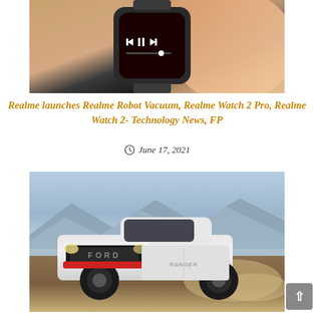[Figure (photo): Close-up photo of a smartwatch being held by fingers, showing media playback controls on a dark red screen]
Realme launches Realme Robot Vacuum, Realme Watch 2 Pro, Realme Watch 2- Technology News, FP
June 17, 2021
[Figure (photo): Photo of a white Ford Ranger Raptor pickup truck driving on a dusty off-road terrain with mountains in the background]